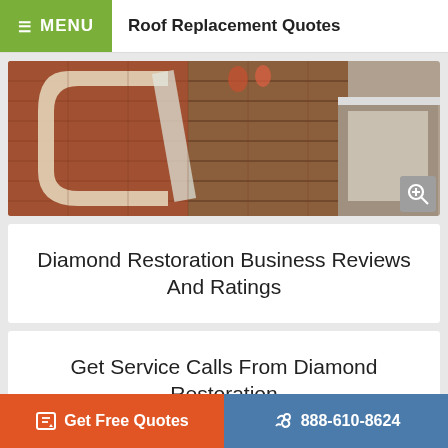MENU  Roof Replacement Quotes
[Figure (photo): Aerial view of a rooftop with brown/red asphalt shingles and workers visible, showing a roof restoration in progress with a white highlight stripe. A zoom/magnify icon is visible in the lower right corner.]
Diamond Restoration Business Reviews And Ratings
Get Service Calls From Diamond Restoration
Get Free Quotes  888-610-8624